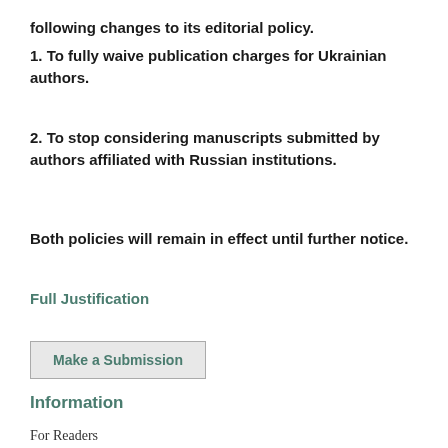following changes to its editorial policy.
1. To fully waive publication charges for Ukrainian authors.
2. To stop considering manuscripts submitted by authors affiliated with Russian institutions.
Both policies will remain in effect until further notice.
Full Justification
Make a Submission
Information
For Readers